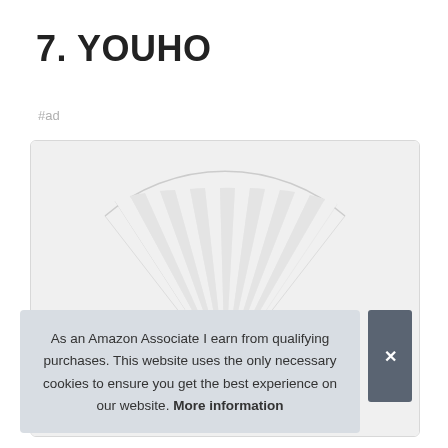7. YOUHO
#ad
[Figure (photo): Product image of a white pleated/accordion-style pendant lamp shade shown from below against a light background, inside a product card with a rounded border.]
As an Amazon Associate I earn from qualifying purchases. This website uses the only necessary cookies to ensure you get the best experience on our website. More information